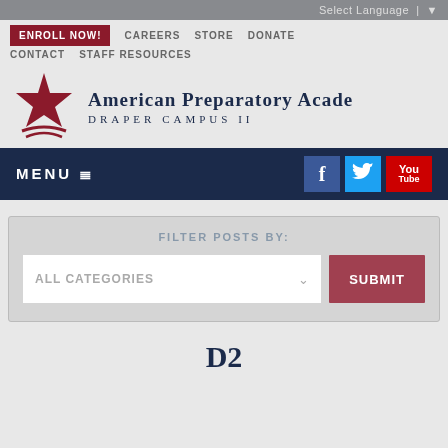Select Language | ▼
ENROLL NOW!  CAREERS  STORE  DONATE  CONTACT  STAFF RESOURCES
[Figure (logo): American Preparatory Academy Draper Campus II logo with red star graphic]
MENU ≡
FILTER POSTS BY:
ALL CATEGORIES  SUBMIT
D2